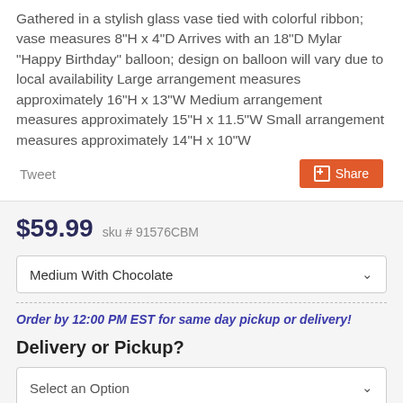Gathered in a stylish glass vase tied with colorful ribbon; vase measures 8"H x 4"D Arrives with an 18"D Mylar "Happy Birthday" balloon; design on balloon will vary due to local availability Large arrangement measures approximately 16"H x 13"W Medium arrangement measures approximately 15"H x 11.5"W Small arrangement measures approximately 14"H x 10"W
Tweet
Share
$59.99  sku # 91576CBM
Medium With Chocolate
Order by 12:00 PM EST for same day pickup or delivery!
Delivery or Pickup?
Select an Option